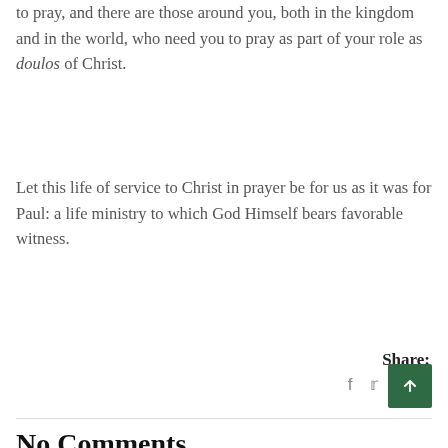to pray, and there are those around you, both in the kingdom and in the world, who need you to pray as part of your role as doulos of Christ.
Let this life of service to Christ in prayer be for us as it was for Paul: a life ministry to which God Himself bears favorable witness.
Share:
f  y  in  t
No Comments